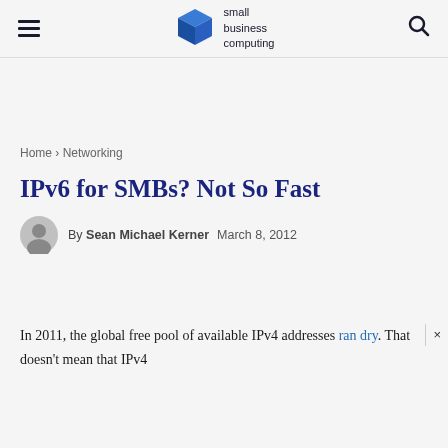small business computing
Home › Networking
IPv6 for SMBs? Not So Fast
By Sean Michael Kerner   March 8, 2012
In 2011, the global free pool of available IPv4 addresses ran dry. That doesn't mean that IPv4